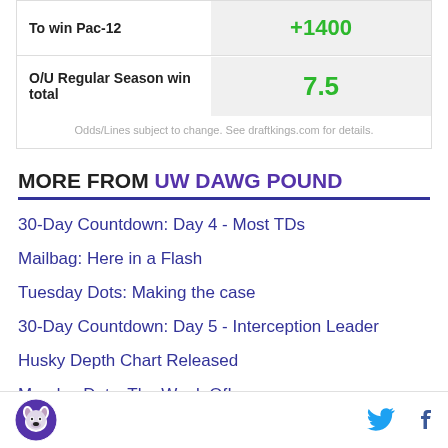|  | Odds |
| --- | --- |
| To win Pac-12 | +1400 |
| O/U Regular Season win total | 7.5 |
Odds/Lines subject to change. See draftkings.com for details.
MORE FROM UW DAWG POUND
30-Day Countdown: Day 4 - Most TDs
Mailbag: Here in a Flash
Tuesday Dots: Making the case
30-Day Countdown: Day 5 - Interception Leader
Husky Depth Chart Released
Monday Dots: The Week Of!
UW Dawg Pound logo, Twitter and Facebook icons